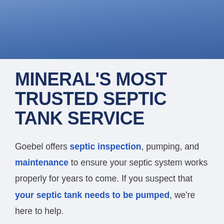[Figure (photo): Blue-tinted banner photo showing people, partially cropped at the top of the page]
MINERAL'S MOST TRUSTED SEPTIC TANK SERVICE
Goebel offers septic inspection, pumping, and maintenance to ensure your septic system works properly for years to come. If you suspect that your septic tank needs to be pumped, we're here to help.
We pride ourselves on providing a service that is